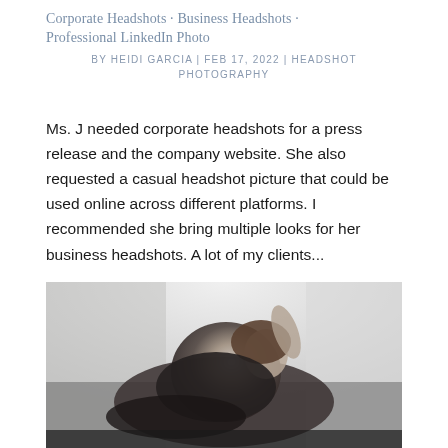Corporate Headshots · Business Headshots · Professional LinkedIn Photo
BY HEIDI GARCIA | FEB 17, 2022 | HEADSHOT PHOTOGRAPHY
Ms. J needed corporate headshots for a press release and the company website. She also requested a casual headshot picture that could be used online across different platforms. I recommended she bring multiple looks for her business headshots. A lot of my clients...
[Figure (photo): Black and white photograph of a woman in a casual pose, reclining with one arm raised behind her head, wearing dark clothing, with a light background.]